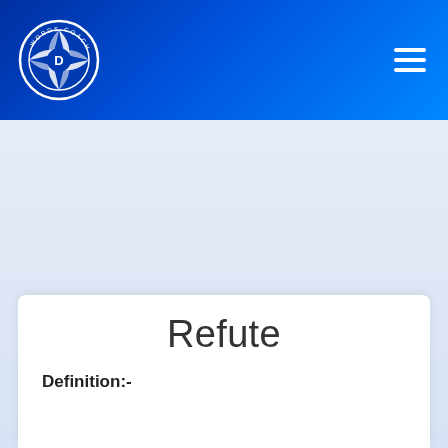[Figure (logo): Words Coach circular logo with camera aperture icon and letter D in the center, white on dark blue background]
Refute
Definition:-